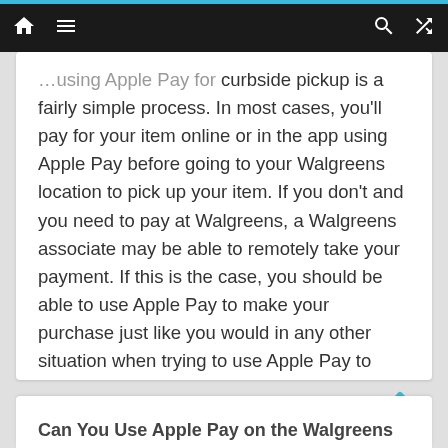[navigation bar with home, menu, search, shuffle icons]
curbside pickup is a fairly simple process. In most cases, you'll pay for your item online or in the app using Apple Pay before going to your Walgreens location to pick up your item. If you don't and you need to pay at Walgreens, a Walgreens associate may be able to remotely take your payment. If this is the case, you should be able to use Apple Pay to make your purchase just like you would in any other situation when trying to use Apple Pay to make a purchase.
Can You Use Apple Pay on the Walgreens...